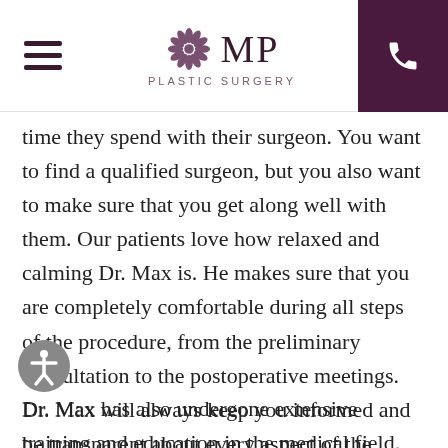MP Plastic Surgery
time they spend with their surgeon. You want to find a qualified surgeon, but you also want to make sure that you get along well with them. Our patients love how relaxed and calming Dr. Max is. He makes sure that you are completely comfortable during all steps of the procedure, from the preliminary consultation to the postoperative meetings. Dr. Max will always keep you informed and be transparent about every aspect of the procedure.
Dr. Max has also undergone extensive training and education in the medical field. He has elected for